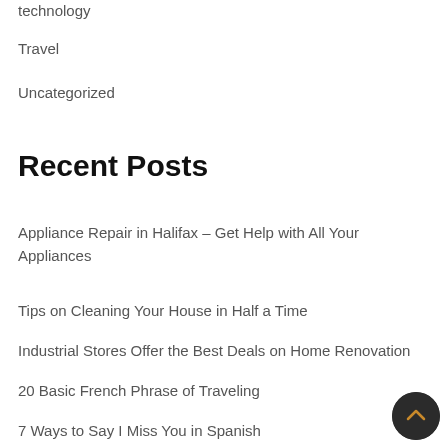technology
Travel
Uncategorized
Recent Posts
Appliance Repair in Halifax – Get Help with All Your Appliances
Tips on Cleaning Your House in Half a Time
Industrial Stores Offer the Best Deals on Home Renovation
20 Basic French Phrase of Traveling
7 Ways to Say I Miss You in Spanish